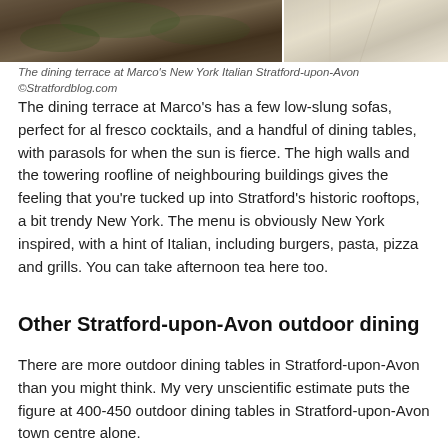[Figure (photo): Two photos side by side showing the dining terrace at Marco's New York Italian, Stratford-upon-Avon. Left photo shows outdoor seating area with greenery. Right photo shows white terrace area with parasols.]
The dining terrace at Marco's New York Italian Stratford-upon-Avon ©Stratfordblog.com
The dining terrace at Marco's has a few low-slung sofas, perfect for al fresco cocktails, and a handful of dining tables, with parasols for when the sun is fierce. The high walls and the towering roofline of neighbouring buildings gives the feeling that you're tucked up into Stratford's historic rooftops, a bit trendy New York. The menu is obviously New York inspired, with a hint of Italian, including burgers, pasta, pizza and grills. You can take afternoon tea here too.
Other Stratford-upon-Avon outdoor dining
There are more outdoor dining tables in Stratford-upon-Avon than you might think. My very unscientific estimate puts the figure at 400-450 outdoor dining tables in Stratford-upon-Avon town centre alone.